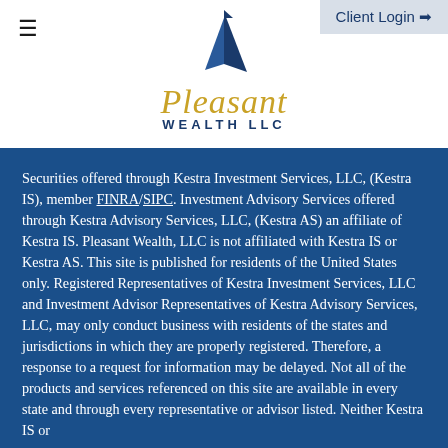Client Login →
[Figure (logo): Pleasant Wealth LLC logo: a dark blue sail icon above the cursive script 'Pleasant' in gold and 'WEALTH LLC' in dark blue capital letters]
Securities offered through Kestra Investment Services, LLC, (Kestra IS), member FINRA/SIPC. Investment Advisory Services offered through Kestra Advisory Services, LLC, (Kestra AS) an affiliate of Kestra IS. Pleasant Wealth, LLC is not affiliated with Kestra IS or Kestra AS. This site is published for residents of the United States only. Registered Representatives of Kestra Investment Services, LLC and Investment Advisor Representatives of Kestra Advisory Services, LLC, may only conduct business with residents of the states and jurisdictions in which they are properly registered. Therefore, a response to a request for information may be delayed. Not all of the products and services referenced on this site are available in every state and through every representative or advisor listed. Neither Kestra IS or